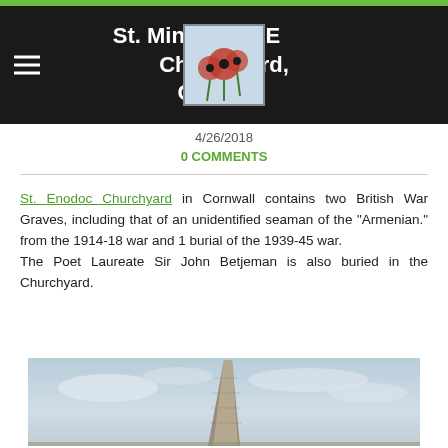St. Minver (St. Enodoc) Churchyard, Cornwall
4/26/2018
0 COMMENTS
St. Enodoc Churchyard in Cornwall contains two British War Graves, including that of an unidentified seaman of the "Armenian." from the 1914-18 war and 1 burial of the 1939-45 war.
The Poet Laureate Sir John Betjeman is also buried in the Churchyard.
[Figure (photo): Photograph of a stone spire/obelisk monument against a cloudy sky at St. Enodoc Churchyard]